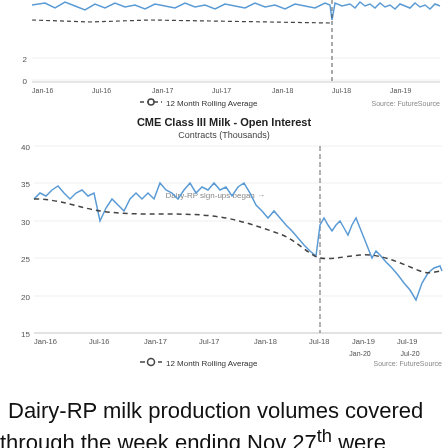[Figure (continuous-plot): Top portion of a line chart showing CME data from Jan-16 to Jul-20 with blue line and dashed 12 Month Rolling Average. Y-axis shows values 0 and 2 visible. X-axis labels: Jan-16 through Jul-20.]
[Figure (continuous-plot): Line chart showing CME Class III Milk Open Interest in Contracts (Thousands) from Jan-16 to Jul-20. Blue solid line fluctuates between ~17 and ~37. Dashed 12 Month Rolling Average line shown. Vertical dashed line at ~Oct-18 marks 'Dairy-RP sign-ups began'. Y-axis: 15 to 40. X-axis: Jan-16 to Jul-20.]
Dairy-RP milk production volumes covered through the week ending Nov 27th were